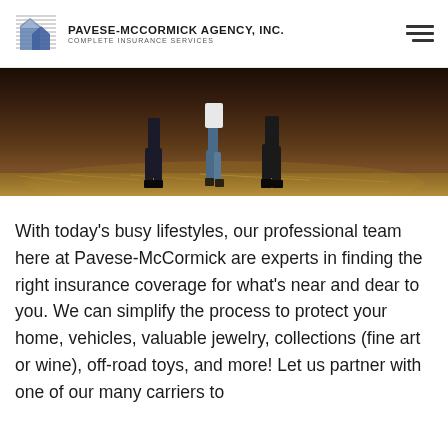Pavese-McCormick Agency, Inc. — Complete Insurance Services
[Figure (photo): Dark outdoor photo showing people's legs and hay bales on the ground, farm or equestrian setting]
With today's busy lifestyles, our professional team here at Pavese-McCormick are experts in finding the right insurance coverage for what's near and dear to you. We can simplify the process to protect your home, vehicles, valuable jewelry, collections (fine art or wine), off-road toys, and more! Let us partner with one of our many carriers to